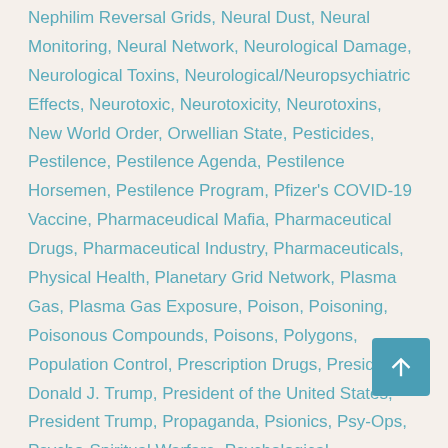Nephilim Reversal Grids, Neural Dust, Neural Monitoring, Neural Network, Neurological Damage, Neurological Toxins, Neurological/Neuropsychiatric Effects, Neurotoxic, Neurotoxicity, Neurotoxins, New World Order, Orwellian State, Pesticides, Pestilence, Pestilence Agenda, Pestilence Horsemen, Pestilence Program, Pfizer's COVID-19 Vaccine, Pharmaceudical Mafia, Pharmaceutical Drugs, Pharmaceutical Industry, Pharmaceuticals, Physical Health, Planetary Grid Network, Plasma Gas, Plasma Gas Exposure, Poison, Poisoning, Poisonous Compounds, Poisons, Polygons, Population Control, Prescription Drugs, President Donald J. Trump, President of the United States, President Trump, Propaganda, Psionics, Psy-Ops, Psycho-Spiritual Warfare, Psychological Operations, Psychotronic, Psychotronic Attacks, Psychotronic Warfare, Psychotronic Weaponry, Psyops, Raising Awareness, Re-Encryption, Re-Encryption Codes, Recurring Vaccinations, Remote Neural Monitoring, Reversal 55 Grid, RNA, RNA Damage, RNA Modification, S-Quad, Safety, SARS, Satanic Agenda, Satanic Forces, Satanic Ritual